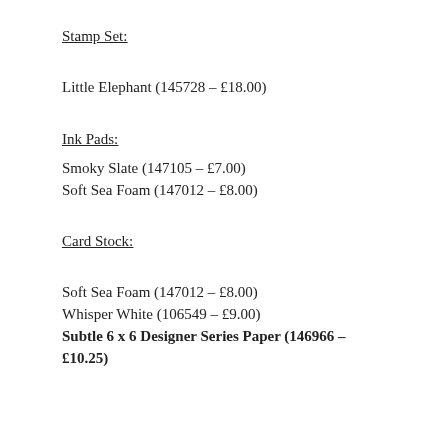Stamp Set:
Little Elephant (145728 – £18.00)
Ink Pads:
Smoky Slate (147105 – £7.00)
Soft Sea Foam (147012 – £8.00)
Card Stock:
Soft Sea Foam (147012 – £8.00)
Whisper White (106549 – £9.00)
Subtle 6 x 6 Designer Series Paper (146966 – £10.25)